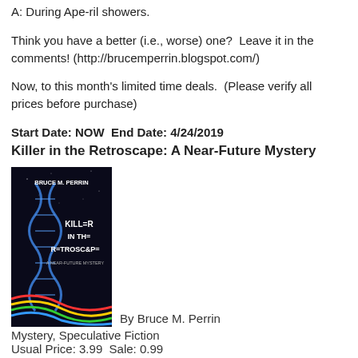A: During Ape-ril showers.
Think you have a better (i.e., worse) one?  Leave it in the comments! (http://brucemperrin.blogspot.com/)
Now, to this month's limited time deals.  (Please verify all prices before purchase)
Start Date: NOW  End Date: 4/24/2019
Killer in the Retroscape: A Near-Future Mystery
[Figure (illustration): Book cover for 'Killer in the Retroscape: A Near-Future Mystery' by Bruce M. Perrin, showing a DNA double helix and colorful wires on a dark background.]
By Bruce M. Perrin
Mystery, Speculative Fiction
Usual Price: 3.99  Sale: 0.99